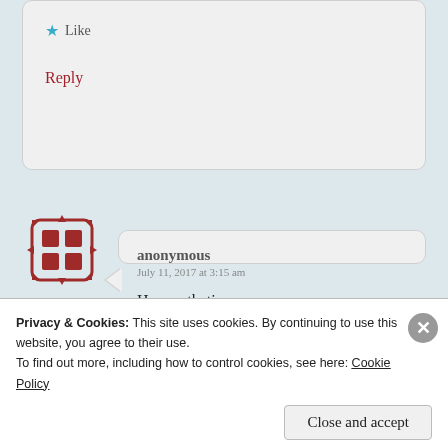[Figure (other): Partial comment card (top portion cut off) showing a Like button (blue star + 'Like') and a Reply link in dark red]
[Figure (other): Anonymous user avatar: dark red geometric pattern icon with grid/lattice design]
anonymous
July 11, 2017 at 3:15 am

How pathetic.

★ Like

Reply
[Figure (other): Green avatar icon partially visible at bottom of page]
Privacy & Cookies: This site uses cookies. By continuing to use this website, you agree to their use.
To find out more, including how to control cookies, see here: Cookie Policy
Close and accept